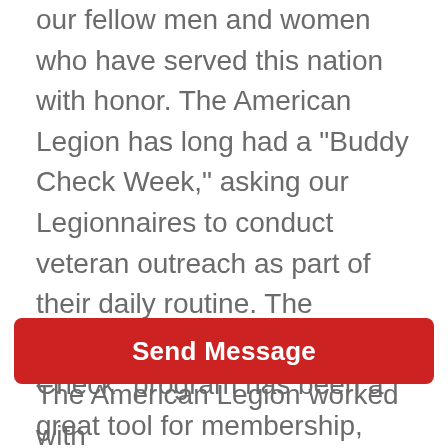our fellow men and women who have served this nation with honor. The American Legion has long had a "Buddy Check Week," asking our Legionnaires to conduct veteran outreach as part of their daily routine. The American Legion's "Buddy Check" program has been a great tool for membership, and we strongly support legislation that expands this program to VA.
Send Message
The American Legion worked with